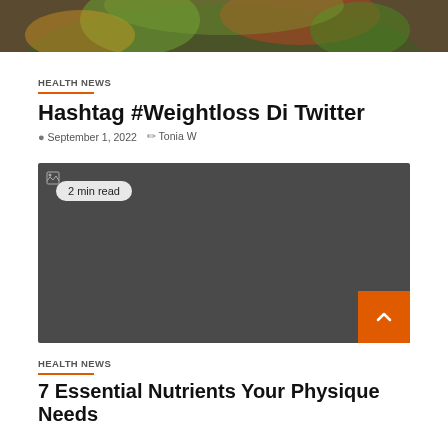[Figure (photo): Top cropped food photo showing a colorful vegetable dish]
HEALTH NEWS
Hashtag #Weightloss Di Twitter
September 1, 2022   Tonia W
[Figure (photo): Dark gray placeholder image with '2 min read' badge]
HEALTH NEWS
7 Essential Nutrients Your Physique Needs